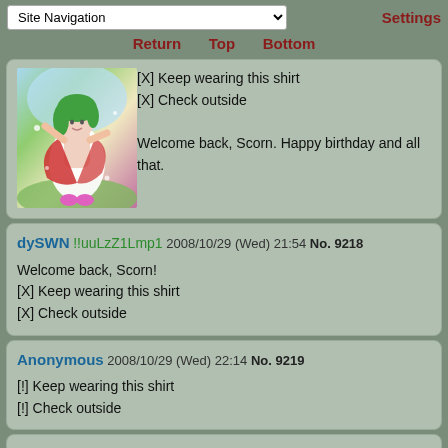Site Navigation | Settings
Return  Top  Bottom
[Figure (illustration): Anime-style illustration of a girl in white dress with green hair]
[X] Keep wearing this shirt
[X] Check outside

Welcome back, Scorn. Happy birthday and all that.
dySWN !!uuLzZ1Lmp1 2008/10/29 (Wed) 21:54 No. 9218
Welcome back, Scorn!
[X] Keep wearing this shirt
[X] Check outside
Anonymous 2008/10/29 (Wed) 22:14 No. 9219
[!] Keep wearing this shirt
[!] Check outside
Vodka !Lbyo2H4Tt2 2008/10/29 (Wed) 23:40 No. 9228